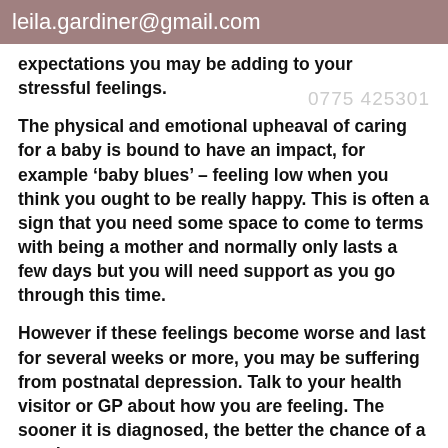leila.gardiner@gmail.com
expectations you may be adding to your stressful feelings.
The physical and emotional upheaval of caring for a baby is bound to have an impact, for example ‘baby blues’ – feeling low when you think you ought to be really happy. This is often a sign that you need some space to come to terms with being a mother and normally only lasts a few days but you will need support as you go through this time.
However if these feelings become worse and last for several weeks or more, you may be suffering from postnatal depression. Talk to your health visitor or GP about how you are feeling. The sooner it is diagnosed, the better the chance of a good recovery.
It is important to get to know other mums with